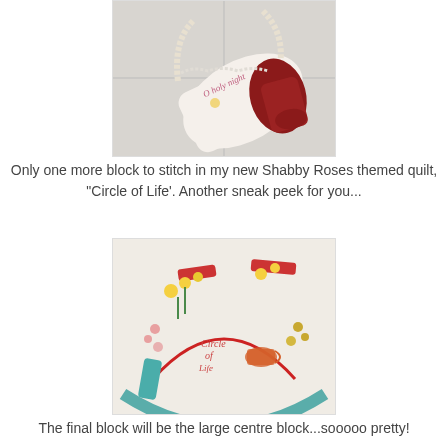[Figure (photo): A decorative fabric bag or pillow with lace trim handles, featuring embroidery text 'O holy night' and a large red appliqué boot with detailed floral fabric.]
Only one more block to stitch in my new Shabby Roses themed quilt, "Circle of Life'. Another sneak peek for you...
[Figure (photo): Close-up of an embroidered quilt block showing floral embroidery in red, blue, and yellow, with the text 'Circle of Life' stitched in the center, surrounded by a curved red line and flowers.]
The final block will be the large centre block...sooooo pretty!